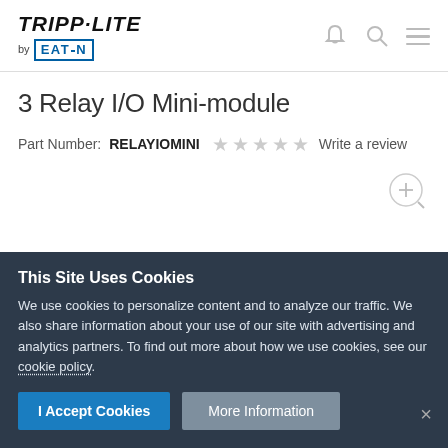[Figure (logo): Tripp-Lite by Eaton logo in header]
3 Relay I/O Mini-module
Part Number: RELAYIOMINI  ☆☆☆☆☆  Write a review
This Site Uses Cookies
We use cookies to personalize content and to analyze our traffic. We also share information about your use of our site with advertising and analytics partners. To find out more about how we use cookies, see our cookie policy.
I Accept Cookies    More Information